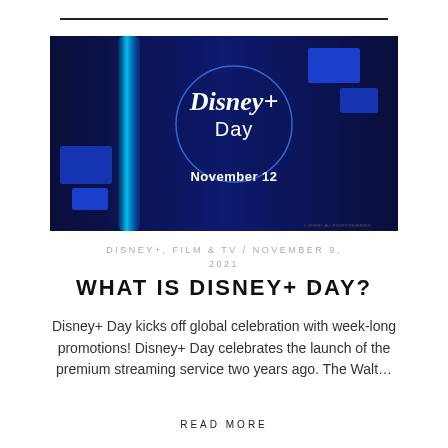[Figure (photo): Disney+ Day promotional image on dark blue background. Shows a circular logo with 'Disney+ Day' in white script and sans-serif text, below which reads 'November 12' in bold white text. A glowing blue vertical stripe and blue geometric squares appear as decorative elements.]
DISNEY+, FILM & TV / NOVEMBER 9, 2021
WHAT IS DISNEY+ DAY?
Disney+ Day kicks off global celebration with week-long promotions! Disney+ Day celebrates the launch of the premium streaming service two years ago. The Walt…
READ MORE